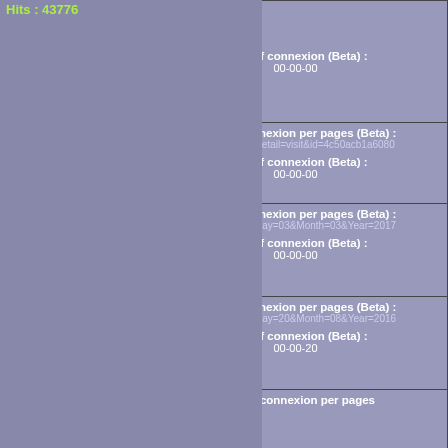Hits : 43776
| Visitor info | Connexion details |
| --- | --- |
| view : 1
Number of Hits : 1 | Time of connexion (Beta) :
00-00-00 |
| .com
Hour of arrival : 00:21:53
# pages view : 1
Number of Hits : 1 | Time of connexion per pages (Beta) :
00-00-00 - /?
detail=visit&id=4c50acb1a6080
Time of connexion (Beta) :
00-00-00 |
| [DE flag]
Hour of arrival : 00:24:21
# pages view : 1
Number of Hits : 1 | Time of connexion per pages (Beta) :
00-00-00 - /?
Day=03&Month=03&Year=2017
Time of connexion (Beta) :
00-00-00 |
| [DE flag]
Hour of arrival : 00:26:14
# pages view : 1
Number of Hits : 1 | Time of connexion per pages (Beta) :
00-00-20 - /?
Day=20&Month=08&Year=2016
Time of connexion (Beta) :
00-00-20 |
| [DE flag]
Hour of ... | Time of connexion per pages ... |